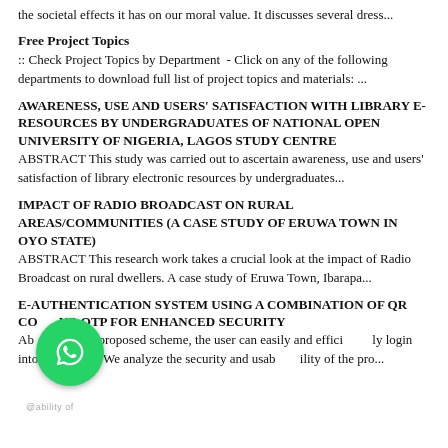the societal effects it has on our moral value. It discusses several dress...
Free Project Topics
:: Check Project Topics by Department  - Click on any of the following departments to download full list of project topics and materials: ...
AWARENESS, USE AND USERS' SATISFACTION WITH LIBRARY E-RESOURCES BY UNDERGRADUATES OF NATIONAL OPEN UNIVERSITY OF NIGERIA, LAGOS STUDY CENTRE
ABSTRACT This study was carried out to ascertain awareness, use and users' satisfaction of library electronic resources by undergraduates...
IMPACT OF RADIO BROADCAST ON RURAL AREAS/COMMUNITIES (A CASE STUDY OF ERUWA TOWN IN OYO STATE)
ABSTRACT This research work takes a crucial look at the impact of Radio Broadcast on rural dwellers. A case study of Eruwa Town, Ibarapa...
E-AUTHENTICATION SYSTEM USING A COMBINATION OF QR CODE AND OTP FOR ENHANCED SECURITY
Abstract In the proposed scheme, the user can easily and efficiently login into the system. We analyze the security and usability of the pro...